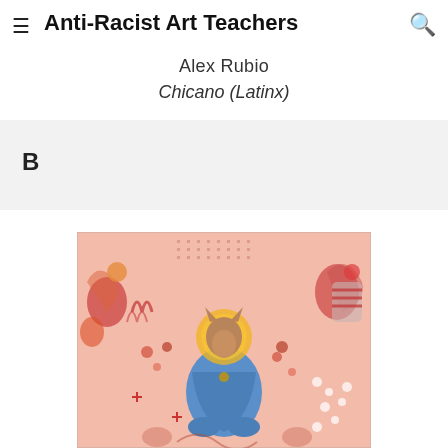Anti-Racist Art Teachers
Alex Rubio
Chicano (Latinx)
B
[Figure (illustration): Colorful mixed-media painting featuring a central figure with an animal head (wolf or dog) wearing a blue robe, seated in a meditative pose with a golden halo, surrounded by swirling pink and red figures and floral elements in a chaotic, dense composition.]